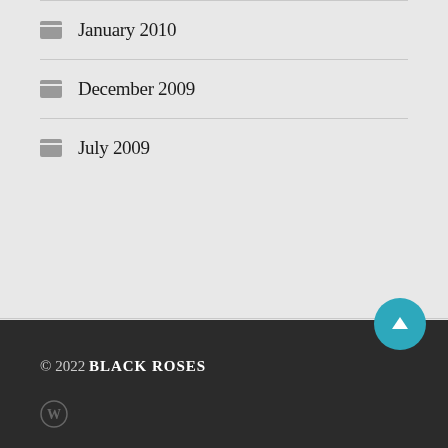January 2010
December 2009
July 2009
BLOG STATS
399,092 hits
© 2022 BLACK ROSES